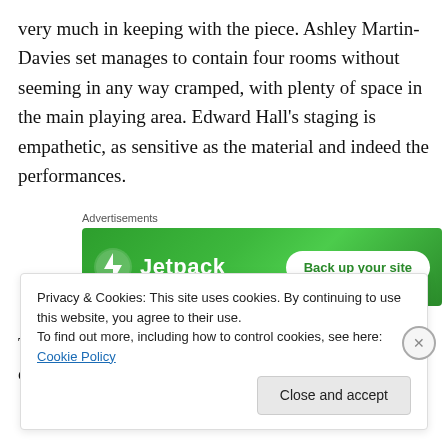very much in keeping with the piece. Ashley Martin-Davies set manages to contain four rooms without seeming in any way cramped, with plenty of space in the main playing area. Edward Hall's staging is empathetic, as sensitive as the material and indeed the performances.
[Figure (infographic): Jetpack advertisement banner with green gradient background showing Jetpack logo and 'Back up your site' button]
Tom Goodman-Hill and Clare Skinner beautifully convey the
Privacy & Cookies: This site uses cookies. By continuing to use this website, you agree to their use.
To find out more, including how to control cookies, see here: Cookie Policy
Close and accept